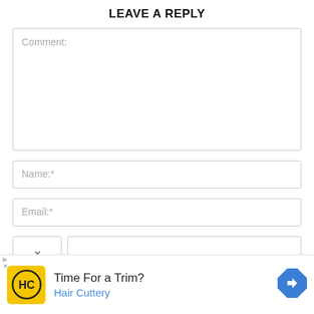LEAVE A REPLY
Comment:
Name:*
Email:*
[Figure (screenshot): A web form dropdown chevron and partial text field below the email field]
[Figure (screenshot): Advertisement banner for Hair Cuttery: yellow logo with HC, text 'Time For a Trim?' and 'Hair Cuttery' in blue, blue diamond arrow icon on right. Small ad disclosure triangle and X at bottom left.]